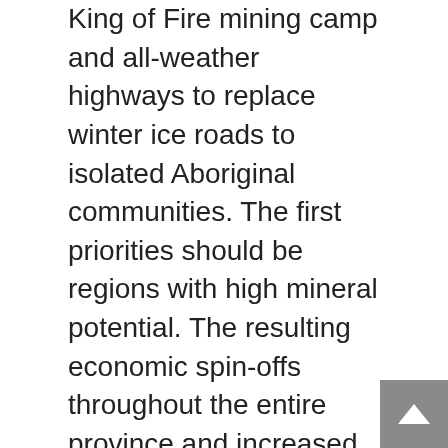King of Fire mining camp and all-weather highways to replace winter ice roads to isolated Aboriginal communities. The first priorities should be regions with high mineral potential. The resulting economic spin-offs throughout the entire province and increased tax revenues will more than justify these public investments.
• Ontario must provide more competitive power rates for mining and refining operations. Both Quebec and Manitoba have lower electricity costs for industry. If northern Ontario is to prosper, we must be competitive with these two provinces. The primary reason Xstrata closed the Timmins copper smelter, moving to an older Noranda